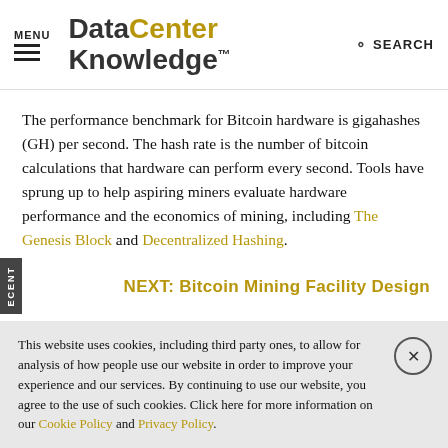MENU | DataCenter Knowledge. | SEARCH
The performance benchmark for Bitcoin hardware is gigahashes (GH) per second. The hash rate is the number of bitcoin calculations that hardware can perform every second. Tools have sprung up to help aspiring miners evaluate hardware performance and the economics of mining, including The Genesis Block and Decentralized Hashing.
NEXT: Bitcoin Mining Facility Design
This website uses cookies, including third party ones, to allow for analysis of how people use our website in order to improve your experience and our services. By continuing to use our website, you agree to the use of such cookies. Click here for more information on our Cookie Policy and Privacy Policy.